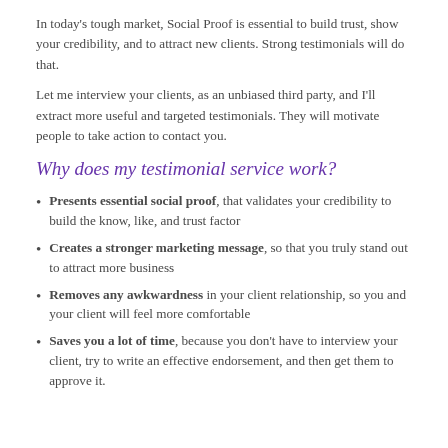In today's tough market, Social Proof is essential to build trust, show your credibility, and to attract new clients. Strong testimonials will do that.
Let me interview your clients, as an unbiased third party, and I'll extract more useful and targeted testimonials. They will motivate people to take action to contact you.
Why does my testimonial service work?
Presents essential social proof, that validates your credibility to build the know, like, and trust factor
Creates a stronger marketing message, so that you truly stand out to attract more business
Removes any awkwardness in your client relationship, so you and your client will feel more comfortable
Saves you a lot of time, because you don't have to interview your client, try to write an effective endorsement, and then get them to approve it.